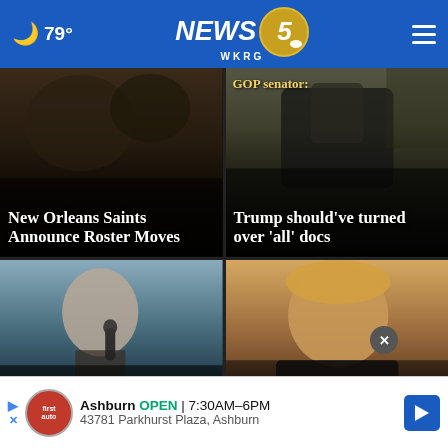NEWS 5 WKRG — 79°
[Figure (photo): News card: New Orleans Saints Announce Roster Moves — dark background with sports imagery]
[Figure (photo): News card: GOP senator: Trump should've turned over 'all' docs — dark background with figure in suit]
[Figure (photo): News card: O'Rourke pauses campaign after being hospitalized — photo of Beto O'Rourke speaking into microphone]
[Figure (photo): News card: Watergate prosecutor urges DOJ to watch — photo of Donald Trump]
Ashburn OPEN 7:30AM–6PM 43781 Parkhurst Plaza, Ashburn